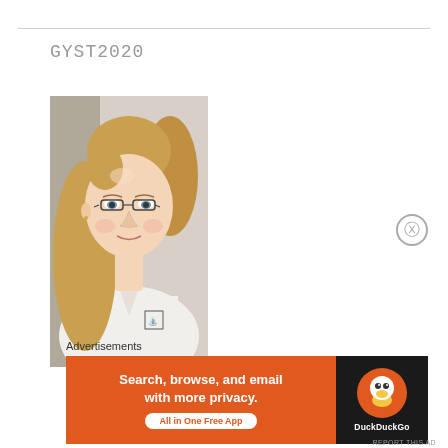GYST2020
[Figure (photo): Portrait photo of a woman with long blonde hair wearing glasses and a white chef's coat or medical coat with a small logo on the chest. She is taking a selfie indoors.]
Advertisements
[Figure (other): DuckDuckGo advertisement banner with orange background on left side reading 'Search, browse, and email with more privacy. All in One Free App' and dark background on right side with DuckDuckGo duck logo.]